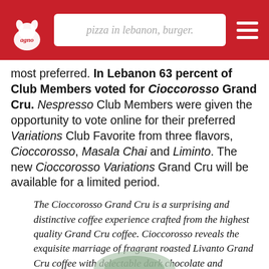pizza in lebanon, burger.
most preferred. In Lebanon 63 percent of Club Members voted for Cioccorosso Grand Cru. Nespresso Club Members were given the opportunity to vote online for their preferred Variations Club Favorite from three flavors, Cioccorosso, Masala Chai and Liminto. The new Cioccorosso Variations Grand Cru will be available for a limited period.
The Cioccorosso Grand Cru is a surprising and distinctive coffee experience crafted from the highest quality Grand Cru coffee. Cioccorosso reveals the exquisite marriage of fragrant roasted Livanto Grand Cru coffee with delectable dark chocolate and refreshing red fruit notes.